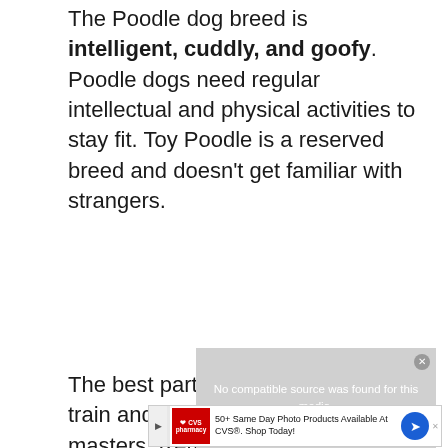The Poodle dog breed is intelligent, cuddly, and goofy. Poodle dogs need regular intellectual and physical activities to stay fit. Toy Poodle is a reserved breed and doesn't get familiar with strangers.
The best part is they are easy to train and are obedient to their masters. Remember their beautiful ears need proper care and brushing.
[Figure (screenshot): Video player overlay showing 'No compatible source was found for this media.' message on gray background with close button]
[Figure (screenshot): CVS Pharmacy advertisement banner: '50+ Same Day Photo Products Available At CVS®. Shop Today!' with CVS logo, play button, and blue arrow icon]